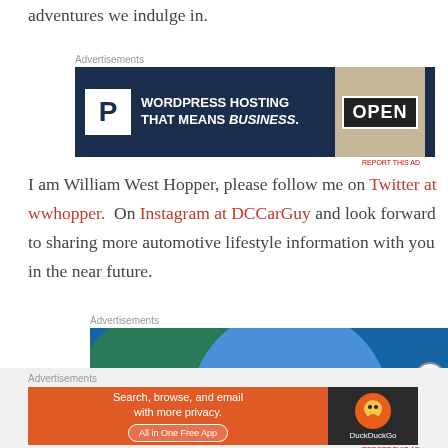adventures we indulge in.
[Figure (screenshot): Advertisement banner: Pressable WordPress hosting ad with 'WORDPRESS HOSTING THAT MEANS BUSINESS.' text on dark navy background with an OPEN sign photo on the right.]
I am William West Hopper, please follow me on Twitter at wwhopper.  On Instagram at DCCarGuy and look forward to sharing more automotive lifestyle information with you in the near future.
[Figure (screenshot): Advertisement banner showing two overlapping circles (green and blue) on a blue background — DuckDuckGo or similar ad.]
[Figure (screenshot): Advertisement banner: DuckDuckGo 'Search, browse, and email with more privacy. All in One Free App' on orange background with DuckDuckGo logo on dark right panel.]